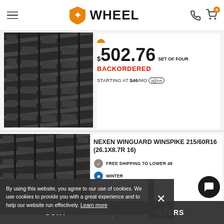WHEEL
$502.76 SET OF FOUR
BACKORDERED
STARTING AT $46/MO affirm
[Figure (photo): Close-up of tire tread pattern, first product]
NEXEN WINGUARD WINSPIKE 215/60R16 (26.1X8.7R 16)
FREE SHIPPING TO LOWER 48
WINTER
AGE WARRANTY
SET OF FOUR
BACKORDERED
[Figure (photo): Close-up of tire tread pattern, second product (Nexen Winguard Winspike)]
By using this website, you agree to our use of cookies. We use cookies to provide you with a great experience and to help our website run effectively. Learn more
SORT
FILTERS